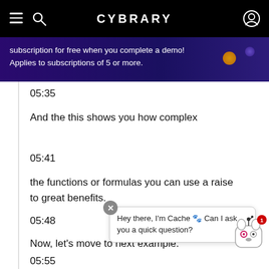CYBRARY
subscription for free when you complete a demo! Applies to subscriptions of 5 or more.
05:35
And the this shows you how complex
05:41
the functions or formulas you can use a raise to great benefits.
05:48
Now, let's move to next example.
05:55
Which would be this. So we have this Ah, list.
Hey there, I'm Cache 🐾 Can I ask you a quick question?